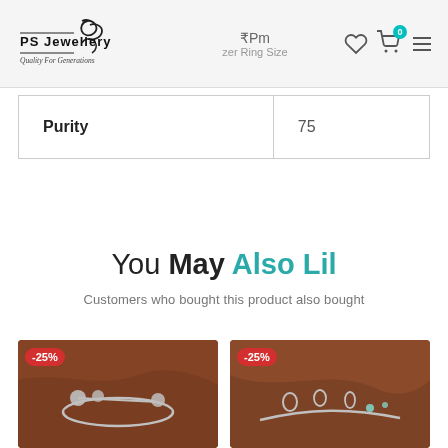[Figure (logo): PS Jewellery logo with swan motif and tagline 'Quality For Generations']
| Purity | 75 |
You May Also Like
Customers who bought this product also bought
[Figure (photo): Silver bracelet with floral charms on brown fabric background, -25% discount badge]
[Figure (photo): Silver anklet with leaf charms on brown fabric background, -25% discount badge]